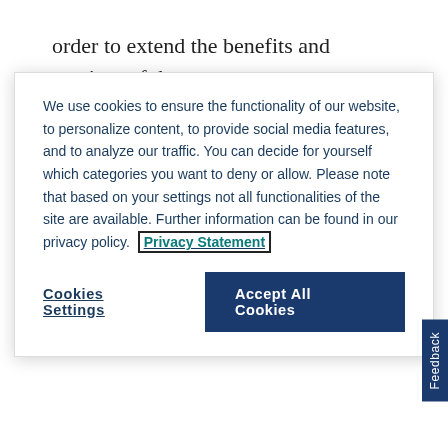lokadharmiṇī dīkṣā was created in this fashion in order to extend the benefits and services of the
We use cookies to ensure the functionality of our website, to personalize content, to provide social media features, and to analyze our traffic. You can decide for yourself which categories you want to deny or allow. Please note that based on your settings not all functionalities of the site are available. Further information can be found in our privacy policy. Privacy Statement
Cookies Settings
Accept All Cookies
practitioners and the laity. In this matter they followed in the footsteps of the Atimārga, for epigraphical evidence attests to members of these Śaiva ascetic initiatory circles serving as religious officiants for lay practitioners from as early as the fourth century (Sanderson 2013).66 However, at the same time, the Sādhaka form of lokadharmiṇī dīkṣā is found only in the Svacchanda, Mṛgendra, and
Feedback